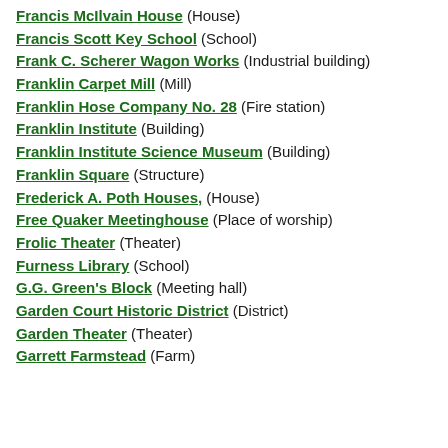Francis McIlvain House (House)
Francis Scott Key School (School)
Frank C. Scherer Wagon Works (Industrial building)
Franklin Carpet Mill (Mill)
Franklin Hose Company No. 28 (Fire station)
Franklin Institute (Building)
Franklin Institute Science Museum (Building)
Franklin Square (Structure)
Frederick A. Poth Houses, (House)
Free Quaker Meetinghouse (Place of worship)
Frolic Theater (Theater)
Furness Library (School)
G.G. Green's Block (Meeting hall)
Garden Court Historic District (District)
Garden Theater (Theater)
Garrett Farmstead (Farm)